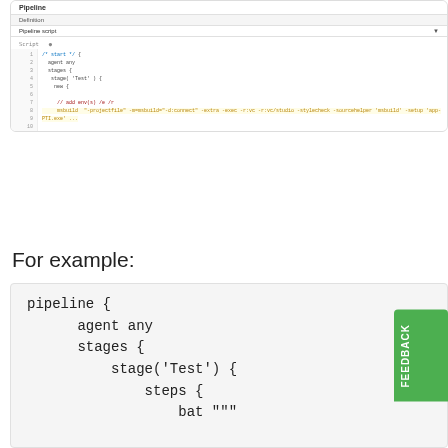[Figure (screenshot): Screenshot of a Pipeline editor UI showing a code editor with Jenkins pipeline script. The editor shows lines of Groovy/Jenkins pipeline code with line numbers, a Pipeline header, toolbar, and pipeline syntax selector dropdown.]
For example:
[Figure (screenshot): Code block showing Jenkins pipeline example: pipeline { agent any stages { stage('Test') { steps { bat """ } } } }]